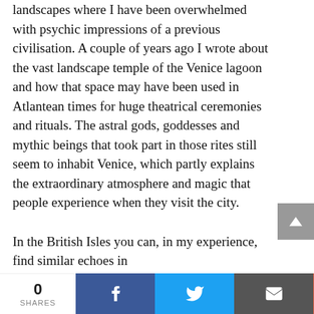landscapes where I have been overwhelmed with psychic impressions of a previous civilisation. A couple of years ago I wrote about the vast landscape temple of the Venice lagoon and how that space may have been used in Atlantean times for huge theatrical ceremonies and rituals. The astral gods, goddesses and mythic beings that took part in those rites still seem to inhabit Venice, which partly explains the extraordinary atmosphere and magic that people experience when they visit the city.

In the British Isles you can, in my experience, find similar echoes in
0 SHARES | Facebook | Twitter | Email | +